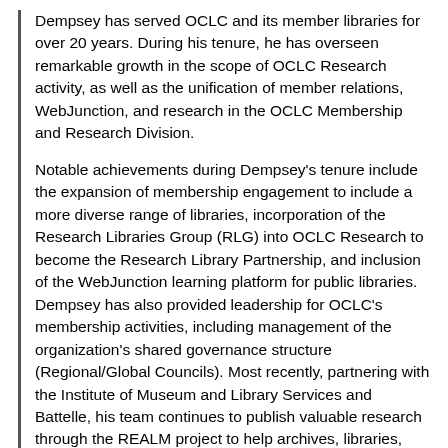Dempsey has served OCLC and its member libraries for over 20 years. During his tenure, he has overseen remarkable growth in the scope of OCLC Research activity, as well as the unification of member relations, WebJunction, and research in the OCLC Membership and Research Division.
Notable achievements during Dempsey's tenure include the expansion of membership engagement to include a more diverse range of libraries, incorporation of the Research Libraries Group (RLG) into OCLC Research to become the Research Library Partnership, and inclusion of the WebJunction learning platform for public libraries. Dempsey has also provided leadership for OCLC's membership activities, including management of the organization's shared governance structure (Regional/Global Councils). Most recently, partnering with the Institute of Museum and Library Services and Battelle, his team continues to publish valuable research through the REALM project to help archives, libraries, and museums follow best practices to operate during the pandemic.
"It has truly been an honor to work under the leadership of Skip, and of the many distinguished Board of Trustees members over the 20 years. I have also enjoyed working with